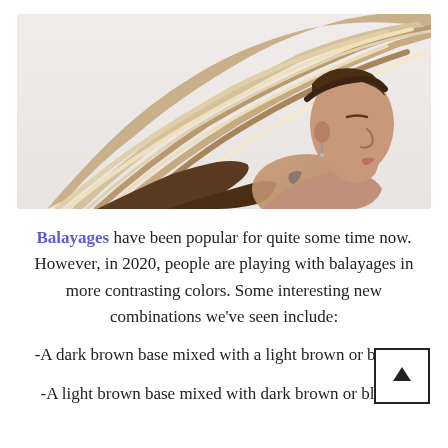[Figure (photo): Side profile of a woman with long, flowing highlighted balayage hair blowing in the wind against a light background.]
Balayages have been popular for quite some time now. However, in 2020, people are playing with balayages in more contrasting colors. Some interesting new combinations we've seen include:
-A dark brown base mixed with a light brown or blonde
-A light brown base mixed with dark brown or blonde